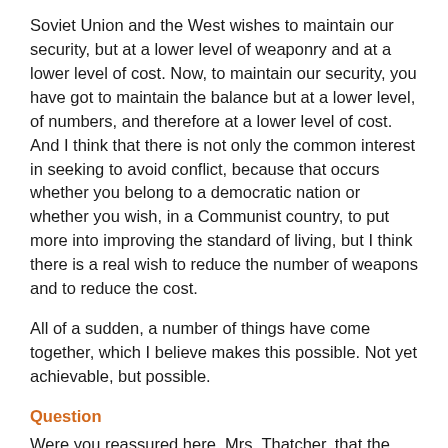Soviet Union and the West wishes to maintain our security, but at a lower level of weaponry and at a lower level of cost. Now, to maintain our security, you have got to maintain the balance but at a lower level, of numbers, and therefore at a lower level of cost. And I think that there is not only the common interest in seeking to avoid conflict, because that occurs whether you belong to a democratic nation or whether you wish, in a Communist country, to put more into improving the standard of living, but I think there is a real wish to reduce the number of weapons and to reduce the cost.
All of a sudden, a number of things have come together, which I believe makes this possible. Not yet achievable, but possible.
Question
Were you reassured here, Mrs. Thatcher, that the Reagan Administration would be willing to delay deployment or negotiate on the Strategic Defence Initiative in return for Soviet concessions? [end p6]